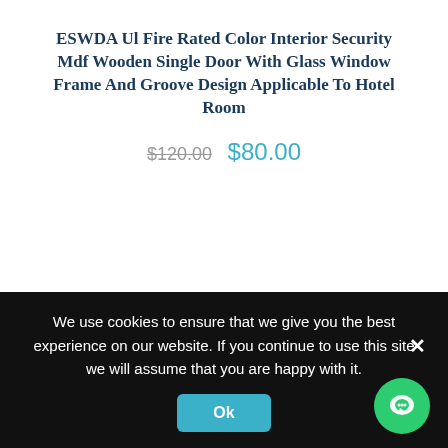ESWDA Ul Fire Rated Color Interior Security Mdf Wooden Single Door With Glass Window Frame And Groove Design Applicable To Hotel Room
$120.00  $80.00
[Figure (photo): Photo of a wooden single door with glass window, brown finish, with a SALE! badge overlay and scroll-to-top button]
We use cookies to ensure that we give you the best experience on our website. If you continue to use this site we will assume that you are happy with it.
Ok